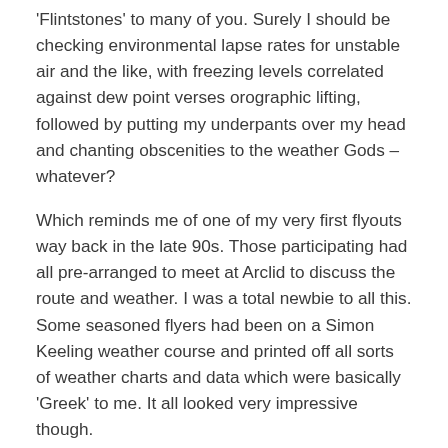'Flintstones' to many of you. Surely I should be checking environmental lapse rates for unstable air and the like, with freezing levels correlated against dew point verses orographic lifting, followed by putting my underpants over my head and chanting obscenities to the weather Gods – whatever?
Which reminds me of one of my very first flyouts way back in the late 90s. Those participating had all pre-arranged to meet at Arclid to discuss the route and weather. I was a total newbie to all this. Some seasoned flyers had been on a Simon Keeling weather course and printed off all sorts of weather charts and data which were basically 'Greek' to me. It all looked very impressive though.